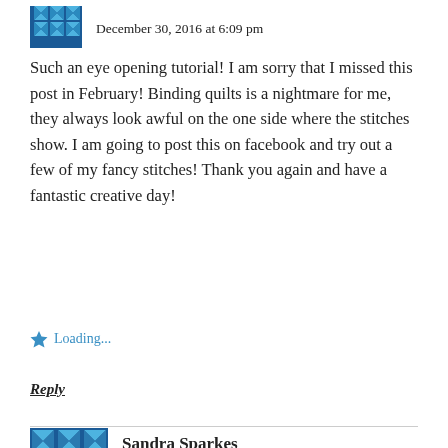[Figure (illustration): Geometric/quilt pattern avatar icon in blue and white, partially visible at top left]
December 30, 2016 at 6:09 pm
Such an eye opening tutorial! I am sorry that I missed this post in February! Binding quilts is a nightmare for me, they always look awful on the one side where the stitches show. I am going to post this on facebook and try out a few of my fancy stitches! Thank you again and have a fantastic creative day!
Loading...
Reply
[Figure (illustration): Geometric/quilt pattern avatar icon for Sandra Sparkes in blue and white]
Sandra Sparkes
July 29, 2017 at 7:15 pm